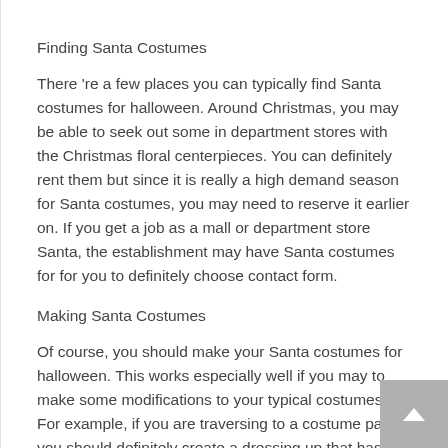Finding Santa Costumes
There 're a few places you can typically find Santa costumes for halloween. Around Christmas, you may be able to seek out some in department stores with the Christmas floral centerpieces. You can definitely rent them but since it is really a high demand season for Santa costumes, you may need to reserve it earlier on. If you get a job as a mall or department store Santa, the establishment may have Santa costumes for for you to definitely choose contact form.
Making Santa Costumes
Of course, you should make your Santa costumes for halloween. This works especially well if you may to make some modifications to your typical costumes. For example, if you are traversing to a costume party, you should definitely create a dressing up that has considerably less fabric. Also, it in a position to harder to